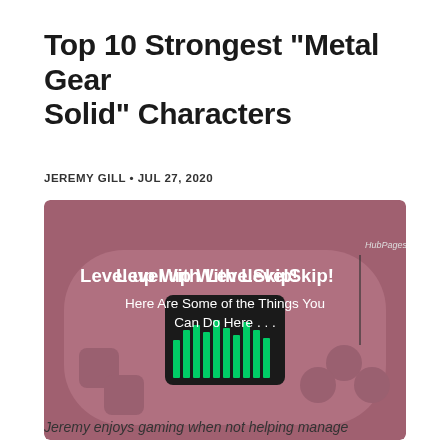Top 10 Strongest "Metal Gear Solid" Characters
JEREMY GILL • JUL 27, 2020
[Figure (photo): A pink/mauve handheld game console with a dark screen showing green equalizer bars. Text overlay reads: 'Level up With LevelSkip! Here Are Some of the Things You Can Do Here . . .' with a HubPages logo in the top right corner.]
Jeremy enjoys gaming when not helping manage